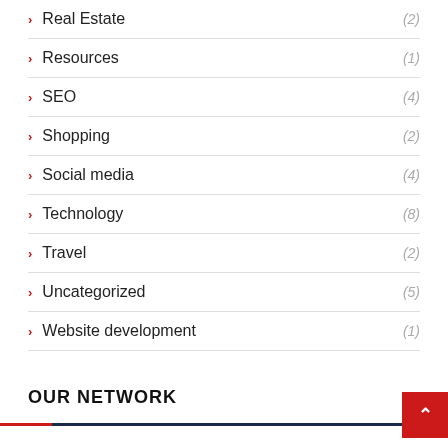Real Estate (2)
Resources (1)
SEO (4)
Shopping (2)
Social media (4)
Technology (8)
Travel (2)
Uncategorized (5)
Website development (1)
OUR NETWORK